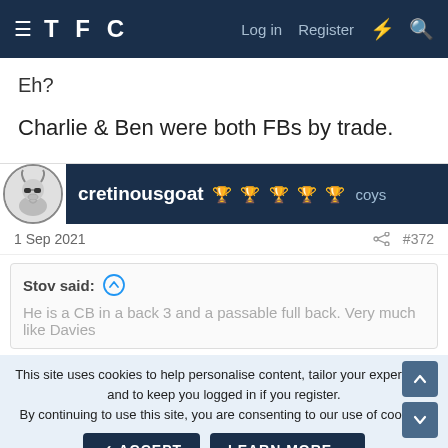TFC  Log in  Register
Eh?
Charlie & Ben were both FBs by trade.
cretinousgoat 🏆🏆🏆🏆🏆 coys
1 Sep 2021  #372
Stov said: ↑
He is a CB in a back 3 and a passable full back. Very much like Davies
This site uses cookies to help personalise content, tailor your experience and to keep you logged in if you register.
By continuing to use this site, you are consenting to our use of cookies.
✓ ACCEPT    LEARN MORE...